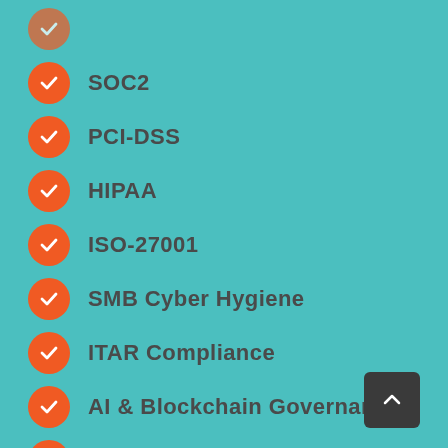SOC2
PCI-DSS
HIPAA
ISO-27001
SMB Cyber Hygiene
ITAR Compliance
AI & Blockchain Governance
IEC 62443 & NERC CIP-013-1